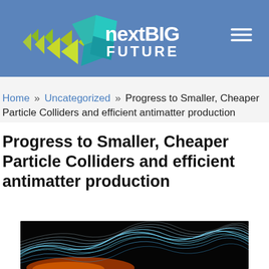[Figure (logo): nextBIG FUTURE logo with geometric arrow shapes in green and teal colors on blue header bar]
Home » Uncategorized » Progress to Smaller, Cheaper Particle Colliders and efficient antimatter production
Progress to Smaller, Cheaper Particle Colliders and efficient antimatter production
[Figure (photo): Abstract image of glowing blue and white curved lines/waves on a dark black background, representing particle collisions or energy waves]